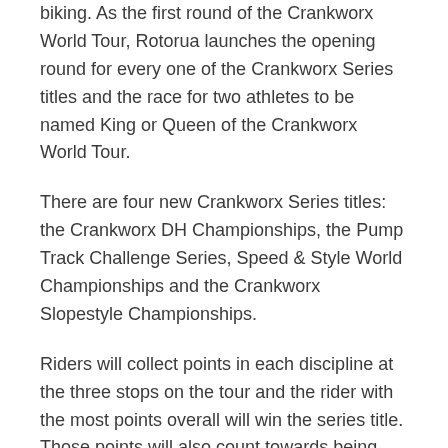biking. As the first round of the Crankworx World Tour, Rotorua launches the opening round for every one of the Crankworx Series titles and the race for two athletes to be named King or Queen of the Crankworx World Tour.
There are four new Crankworx Series titles: the Crankworx DH Championships, the Pump Track Challenge Series, Speed & Style World Championships and the Crankworx Slopestyle Championships.
Riders will collect points in each discipline at the three stops on the tour and the rider with the most points overall will win the series title. Those points will also count towards being named the King or Queen of the Crankworx World Tour. (More information: Crankworx.com)